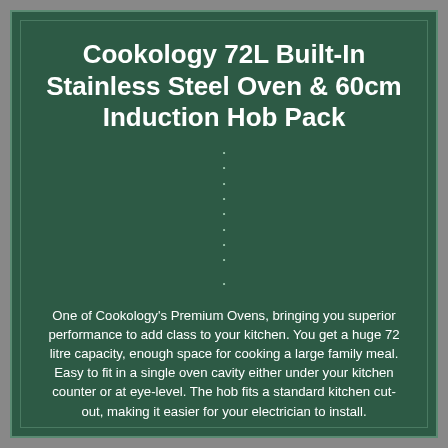Cookology 72L Built-In Stainless Steel Oven & 60cm Induction Hob Pack
One of Cookology's Premium Ovens, bringing you superior performance to add class to your kitchen. You get a huge 72 litre capacity, enough space for cooking a large family meal. Easy to fit in a single oven cavity either under your kitchen counter or at eye-level. The hob fits a standard kitchen cut-out, making it easier for your electrician to install.
Ergonomic Touch controls, making the controls easier and more responsive. Please make sure you supply a valid contact number - Orders without a valid number will be delayed! Cookology TOF690SS Touch Control Multifunction Built-in Oven Thickness of Cookology's Premium Oven making it